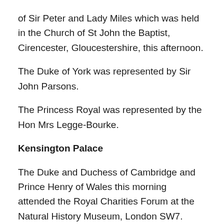of Sir Peter and Lady Miles which was held in the Church of St John the Baptist, Cirencester, Gloucestershire, this afternoon.
The Duke of York was represented by Sir John Parsons.
The Princess Royal was represented by the Hon Mrs Legge-Bourke.
Kensington Palace
The Duke and Duchess of Cambridge and Prince Henry of Wales this morning attended the Royal Charities Forum at the Natural History Museum, London SW7.
The Duke of Cambridge, President, the Football Association, this evening attended the World Cup pre-match between England and Peru at Wembley Stadium,